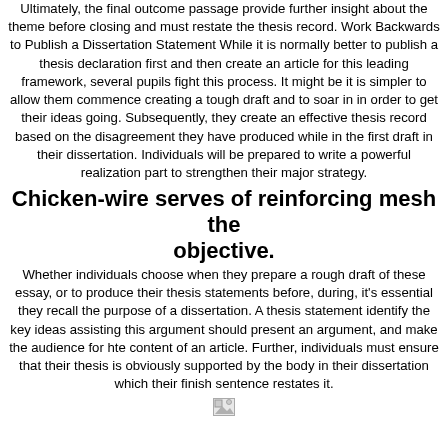Ultimately, the final outcome passage provide further insight about the theme before closing and must restate the thesis record. Work Backwards to Publish a Dissertation Statement While it is normally better to publish a thesis declaration first and then create an article for this leading framework, several pupils fight this process. It might be it is simpler to allow them commence creating a tough draft and to soar in in order to get their ideas going. Subsequently, they create an effective thesis record based on the disagreement they have produced while in the first draft in their dissertation. Individuals will be prepared to write a powerful realization part to strengthen their major strategy.
Chicken-wire serves of reinforcing mesh the objective.
Whether individuals choose when they prepare a rough draft of these essay, or to produce their thesis statements before, during, it's essential they recall the purpose of a dissertation. A thesis statement identify the key ideas assisting this argument should present an argument, and make the audience for hte content of an article. Further, individuals must ensure that their thesis is obviously supported by the body in their dissertation which their finish sentence restates it.
[Figure (other): Broken image icon placeholder]